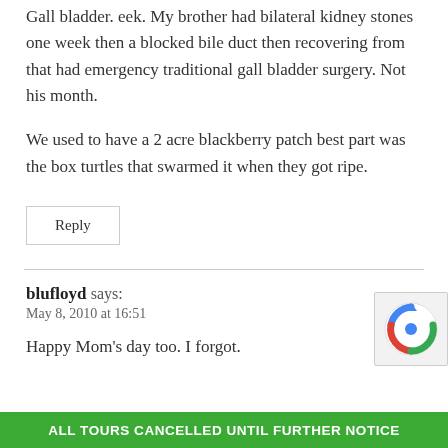Gall bladder. eek. My brother had bilateral kidney stones one week then a blocked bile duct then recovering from that had emergency traditional gall bladder surgery. Not his month.
We used to have a 2 acre blackberry patch best part was the box turtles that swarmed it when they got ripe.
Reply
blufloyd says:
May 8, 2010 at 16:51
Happy Mom's day too. I forgot.